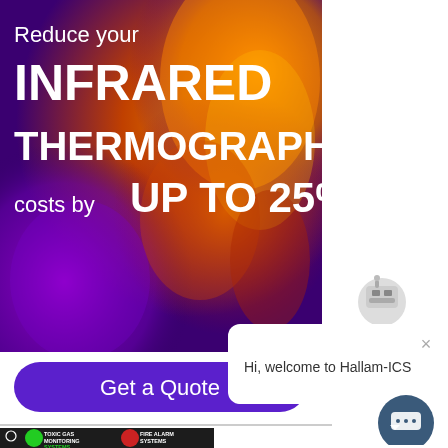[Figure (infographic): Infrared thermography advertisement banner with colorful thermal imaging background. Text reads: Reduce your INFRARED THERMOGRAPHY costs by UP TO 25%]
[Figure (screenshot): Purple rounded button labeled 'Get a Quote']
[Figure (infographic): Dark background safety systems advertisement showing Toxic Gas Monitoring Systems and Fire Alarm Systems with green and red circular graphics and text '7 REASONS']
[Figure (screenshot): Chat widget popup with robot icon showing message 'Hi, welcome to Hallam-ICS' with close X button, and dark blue circular chat button in bottom right]